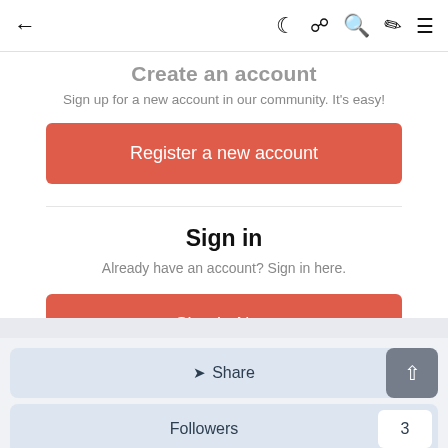← 🌙 📰 🔍 ✏️ ≡
Create an account
Sign up for a new account in our community. It's easy!
Register a new account
Sign in
Already have an account? Sign in here.
Sign In Now
Share
Followers 3